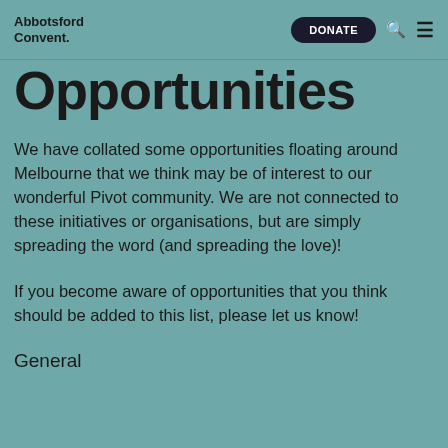Abbotsford Convent. | DONATE
Opportunities
We have collated some opportunities floating around Melbourne that we think may be of interest to our wonderful Pivot community. We are not connected to these initiatives or organisations, but are simply spreading the word (and spreading the love)!
If you become aware of opportunities that you think should be added to this list, please let us know!
General